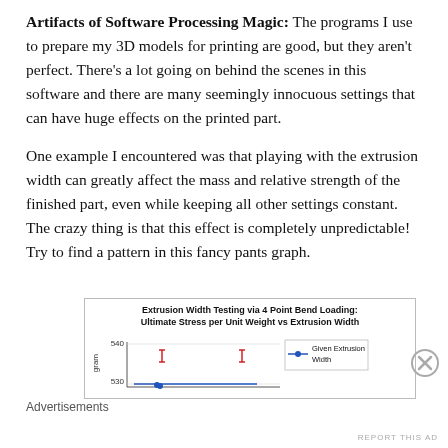Artifacts of Software Processing Magic: The programs I use to prepare my 3D models for printing are good, but they aren't perfect. There's a lot going on behind the scenes in this software and there are many seemingly innocuous settings that can have huge effects on the printed part.
One example I encountered was that playing with the extrusion width can greatly affect the mass and relative strength of the finished part, even while keeping all other settings constant. The crazy thing is that this effect is completely unpredictable! Try to find a pattern in this fancy pants graph.
[Figure (continuous-plot): Partial line chart showing Ultimate Stress per Unit Weight vs Extrusion Width with y-axis values around 530-540. Legend shows 'Given Extrusion Width' series with blue line and markers.]
Advertisements